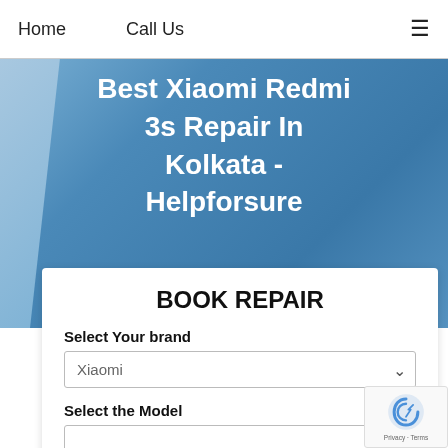Home   Call Us   ≡
Best Xiaomi Redmi 3s Repair In Kolkata - Helpforsure
BOOK REPAIR
Select Your brand
Xiaomi
Select the Model